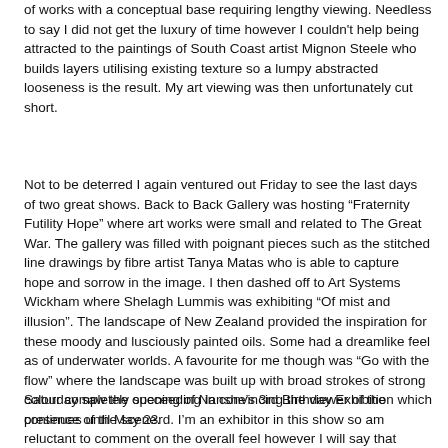of works with a conceptual base requiring lengthy viewing.  Needless to say I did not get the luxury of time however I couldn't help being attracted to the paintings of South Coast artist Mignon Steele who builds layers utilising existing texture so a lumpy abstracted looseness is the result.  My art viewing was then unfortunately cut short.
Not to be deterred I again ventured out Friday to see the last days of two great shows.  Back to Back Gallery was hosting “Fraternity Futility Hope” where art works were small and related to The Great War.  The gallery was filled with poignant pieces such as the stitched line drawings by fibre artist Tanya Matas who is able to capture hope and sorrow in the image.  I then dashed off to Art Systems Wickham where Shelagh Lummis was exhibiting “Of mist and illusion”.  The landscape of New Zealand provided the inspiration for these moody and lusciously painted oils.  Some had a dreamlike feel as of underwater worlds.  A favourite for me though was “Go with the flow” where the landscape was built up with broad strokes of strong colour completely succeeding in convincing the viewer of the presence of the scene.
Saturday saw the opening of Nanshe’s 3rd Birthday Exhibition which continues until May 23rd.  I’m an exhibitor in this show so am reluctant to comment on the overall feel however I will say that Barb’s gallery